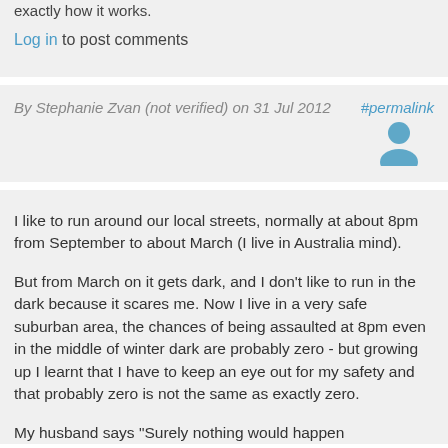exactly how it works.
Log in to post comments
By Stephanie Zvan (not verified) on 31 Jul 2012 #permalink
[Figure (illustration): User avatar icon (silhouette of a person in blue/grey)]
I like to run around our local streets, normally at about 8pm from September to about March (I live in Australia mind).
But from March on it gets dark, and I don't like to run in the dark because it scares me. Now I live in a very safe suburban area, the chances of being assaulted at 8pm even in the middle of winter dark are probably zero - but growing up I learnt that I have to keep an eye out for my safety and that probably zero is not the same as exactly zero.
My husband says "Surely nothing would happen